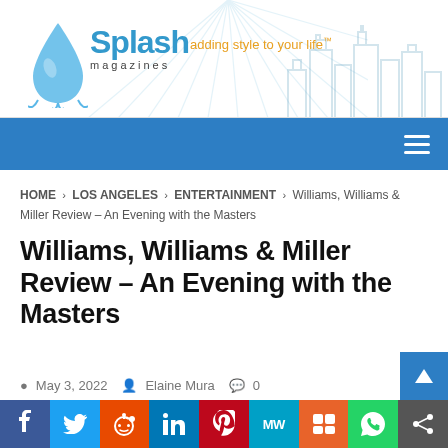[Figure (logo): Splash Magazines logo with water drop graphic, tagline 'adding style to your life™', and city skyline silhouette on the right]
Navigation bar with hamburger menu icon
HOME > LOS ANGELES > ENTERTAINMENT > Williams, Williams & Miller Review – An Evening with the Masters
Williams, Williams & Miller Review – An Evening with the Masters
May 3, 2022  Elaine Mura  0
[Figure (infographic): Social sharing bar with buttons: Facebook, Twitter, Reddit, LinkedIn, Pinterest, MeWe, Mix, WhatsApp, Share]